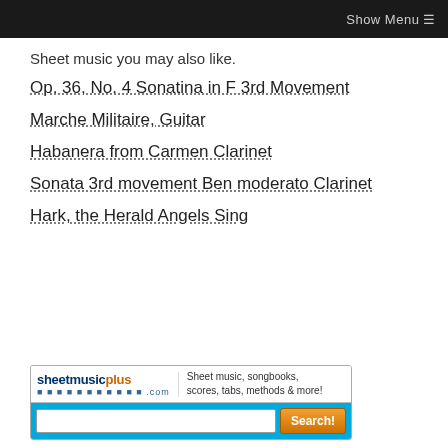Show Menu ☰
Sheet music you may also like.
Op. 36, No. 4 Sonatina in F 3rd Movement
Marche Militaire, Guitar
Habanera from Carmen Clarinet
Sonata 3rd movement Ben moderato Clarinet
Hark, the Herald Angels Sing
[Figure (screenshot): sheetmusicplus.com advertisement banner with logo, tagline 'Sheet music, songbooks, scores, tabs, methods & more!', search input field and Search! button]